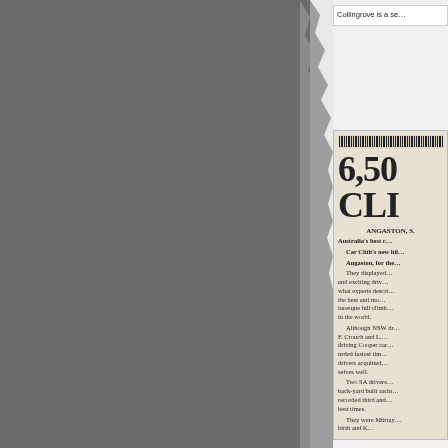[Figure (photo): Dark grey torn page or document background on the left side of the page, approximately 330px wide]
Collingrove is a se…
[Figure (photo): Newspaper clipping showing a partial headline '6,50' and 'CLI' in large bold type, with article text about an Angaston hill climb event, dateline ANGASTON, S. Text mentions Australia's best cars, Car Club's new hill climb near Angaston, displays of exciting driving, NSW drivers F. Crouch and L. driving Cooper cars recording fastest times, SA drivers with back-yard built racers recording third and best times. They were Murray… with mention of birth and K…]
6,50
CLI
ANGASTON, S. Australia's best c… Car Club's new hil… Angaston, for the…
They displayed… and exciting driv… what experts descri… the best and mo… turesque hill climb… in the world.
Although NSW dr… F. Crouch and L.… driving Cooper car… nrded fastest tim… drivers acquitted… selves well.
Two SA drivers… back-yard built racin… recorded third and… best times.
They were Murray… birth and K…